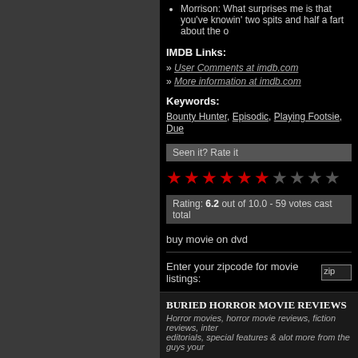Morrison: What surprises me is that you've knowin' two spits and half a fart about the o
IMDB Links:
» User Comments at imdb.com
» More information at imdb.com
Keywords:
Bounty Hunter, Episodic, Playing Footsie, Due
Seen it? Rate it
[Figure (other): Star rating widget showing 6 red stars and 4 gray stars out of 10]
Rating: 6.2 out of 10.0 - 59 votes cast total
buy movie on dvd
Enter your zipcode for movie listings:
» BACK TO HORROR MOVIES LIST
BURIED HORROR MOVIE REVIEWS
Horror movies, horror movie reviews, fiction reviews, inter editorials, special features & alot more from the guys your